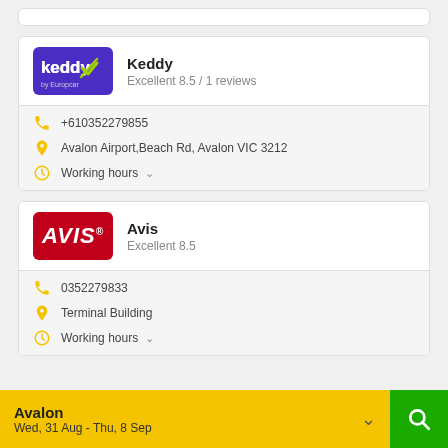[Figure (screenshot): Partial card at top of page (cut off)]
Keddy
Excellent 8.5 / 1 reviews
+610352279855
Avalon Airport,Beach Rd, Avalon VIC 3212
Working hours
Avis
Excellent 8.5
0352279833
Terminal Building
Working hours
Avalon
Wed, 31 Aug - Thu, 8 Sep